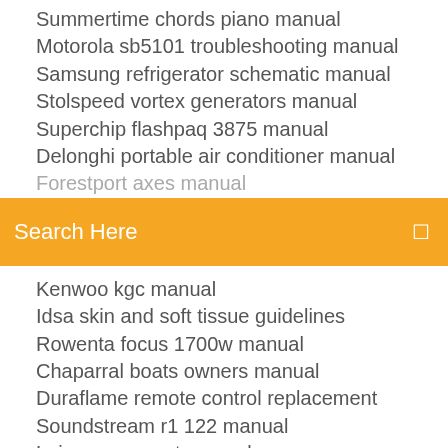Summertime chords piano manual
Motorola sb5101 troubleshooting manual
Samsung refrigerator schematic manual
Stolspeed vortex generators manual
Superchip flashpaq 3875 manual
Delonghi portable air conditioner manual
Forestport axes manual (partial)
Search Here
Kenwoo kgc manual
Idsa skin and soft tissue guidelines
Rowenta focus 1700w manual
Chaparral boats owners manual
Duraflame remote control replacement
Soundstream r1 122 manual
Leisure rv resort manual
Zonar 2020 manual
Noritz code 12 manual
Ea3500 default password manual